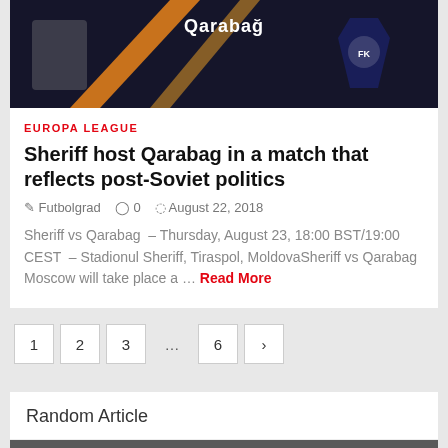[Figure (photo): Header image showing Qarabag football club branding with Europa League trophy graphic on dark background]
EUROPA LEAGUE
Sheriff host Qarabag in a match that reflects post-Soviet politics
Futbolgrad  0  August 22, 2018
Sheriff vs Qarabag – Thursday, August 23, 18:00 BST/19:00 CEST – Stadionul Sheriff, Tiraspol, MoldovaSheriff vs Qarabag Moscow will take place a … Read More
1
2
3
...
6
>
Random Article
[Figure (photo): Football match action photo showing players in red and white jerseys competing]